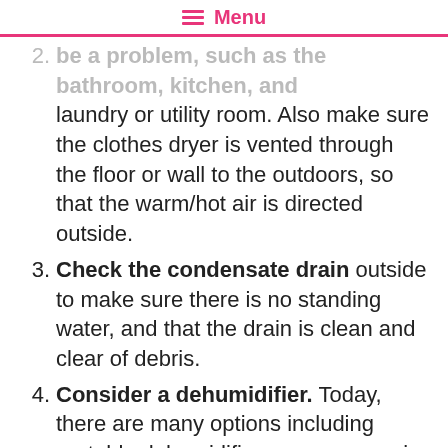Menu
2. Ventilate all areas where heat or steam may be a problem, such as the bathroom, kitchen, and laundry or utility room. Also make sure the clothes dryer is vented through the floor or wall to the outdoors, so that the warm/hot air is directed outside.
3. Check the condensate drain outside to make sure there is no standing water, and that the drain is clean and clear of debris.
4. Consider a dehumidifier. Today, there are many options including portable dehumidifiers you can use in a single room, and whole-house dehumidifiers. Combined with your HVAC system, a dehumidifier can make a significant difference in humidity levels.
5. Certain plants may help lower humidity levels (text continues below)